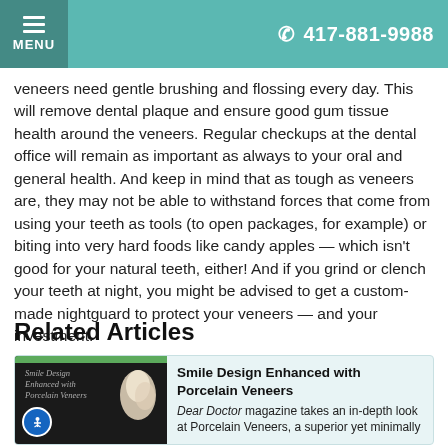MENU  417-881-9988
veneers need gentle brushing and flossing every day. This will remove dental plaque and ensure good gum tissue health around the veneers. Regular checkups at the dental office will remain as important as always to your oral and general health. And keep in mind that as tough as veneers are, they may not be able to withstand forces that come from using your teeth as tools (to open packages, for example) or biting into very hard foods like candy apples — which isn't good for your natural teeth, either! And if you grind or clench your teeth at night, you might be advised to get a custom-made nightguard to protect your veneers — and your investment.
Related Articles
[Figure (photo): Magazine cover thumbnail for 'Smile Design Enhanced with Porcelain Veneers' showing porcelain veneer tooth pieces against a dark background]
Smile Design Enhanced with Porcelain Veneers
Dear Doctor magazine takes an in-depth look at Porcelain Veneers, a superior yet minimally